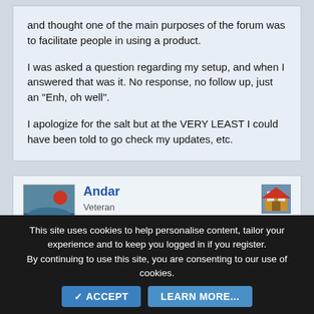and thought one of the main purposes of the forum was to facilitate people in using a product.

I was asked a question regarding my setup, and when I answered that was it. No response, no follow up, just an "Enh, oh well".

I apologize for the salt but at the VERY LEAST I could have been told to go check my updates, etc.
Andar
Veteran
Aug 3, 2017
#12
This site uses cookies to help personalise content, tailor your experience and to keep you logged in if you register.
By continuing to use this site, you are consenting to our use of cookies.
ACCEPT  LEARN MORE...